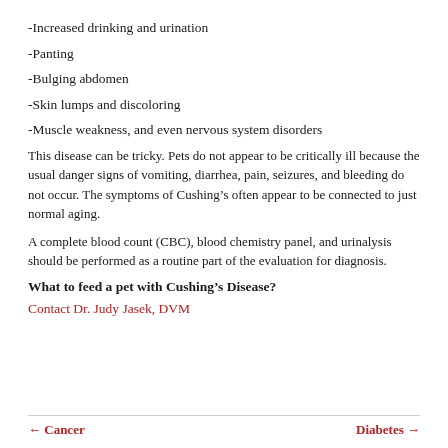-Increased drinking and urination
-Panting
-Bulging abdomen
-Skin lumps and discoloring
-Muscle weakness, and even nervous system disorders
This disease can be tricky. Pets do not appear to be critically ill because the usual danger signs of vomiting, diarrhea, pain, seizures, and bleeding do not occur. The symptoms of Cushing’s often appear to be connected to just normal aging.
A complete blood count (CBC), blood chemistry panel, and urinalysis should be performed as a routine part of the evaluation for diagnosis.
What to feed a pet with Cushing’s Disease?
Contact Dr. Judy Jasek, DVM
← Cancer    Diabetes →